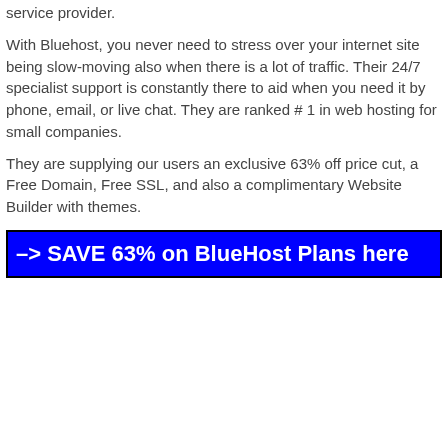service provider.
With Bluehost, you never need to stress over your internet site being slow-moving also when there is a lot of traffic. Their 24/7 specialist support is constantly there to aid when you need it by phone, email, or live chat. They are ranked # 1 in web hosting for small companies.
They are supplying our users an exclusive 63% off price cut, a Free Domain, Free SSL, and also a complimentary Website Builder with themes.
–> SAVE 63% on BlueHost Plans here